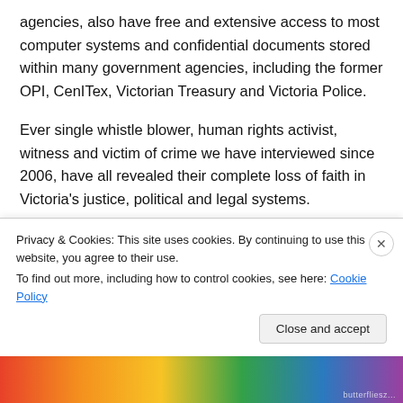agencies, also have free and extensive access to most computer systems and confidential documents stored within many government agencies, including the former OPI, CenITex, Victorian Treasury and Victoria Police.
Ever single whistle blower, human rights activist, witness and victim of crime we have interviewed since 2006, have all revealed their complete loss of faith in Victoria's justice, political and legal systems.
Of additional concern is the matter where the IBAC Commissioner...
Privacy & Cookies: This site uses cookies. By continuing to use this website, you agree to their use.
To find out more, including how to control cookies, see here: Cookie Policy